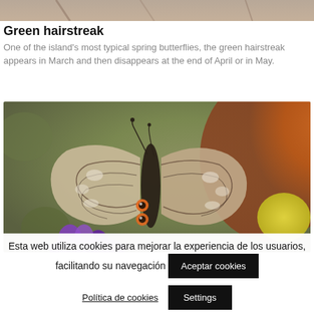[Figure (photo): Partial top edge of a nature/butterfly photo, cropped at the top of the page]
Green hairstreak
One of the island's most typical spring butterflies, the green hairstreak appears in March and then disappears at the end of April or in May.
[Figure (photo): Close-up photograph of a butterfly (likely a Leptotes pirithous or similar blue butterfly) with wings spread showing intricate brown and white patterned wing undersides and orange eye-spots, perched on a purple flower against a blurred green and autumn-colored background]
Esta web utiliza cookies para mejorar la experiencia de los usuarios, facilitando su navegación
Aceptar cookies
Política de cookies
Settings